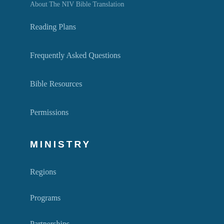About The NIV Bible Translation
Reading Plans
Frequently Asked Questions
Bible Resources
Permissions
MINISTRY
Regions
Programs
Partnerships
Videos
Digital Bible Engagement
IllumiNations
Guardian Home Page
BLOG